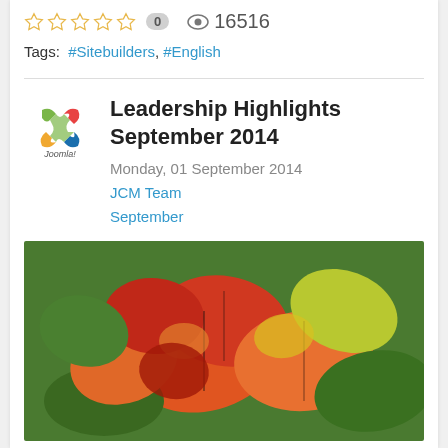☆ ☆ ☆ ☆ ☆  0   👁 16516
Tags: #Sitebuilders, #English
Leadership Highlights September 2014
Monday, 01 September 2014
JCM Team
September
[Figure (photo): Autumn maple leaves in red, orange and yellow colors with green leaves in background]